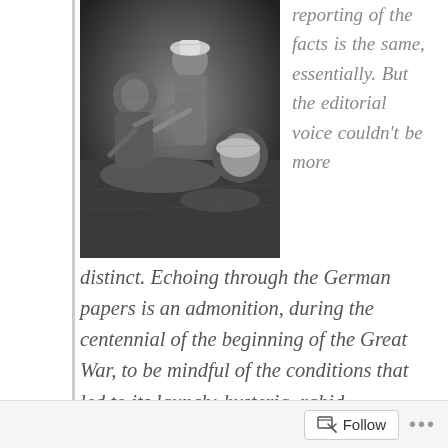[Figure (photo): Black and white photograph of soldiers or people in what appears to be a trench or outdoor wartime setting, huddled together.]
reporting of the facts is the same, essentially. But the editorial voice couldn't be more distinct. Echoing through the German papers is an admonition, during the centennial of the beginning of the Great War, to be mindful of the conditions that led to its launch: hysteria, rabid nationalism, thoughts of the pride and glory of great nations, elements of personal vanity, militarism. These are forces that have historically
Follow ...